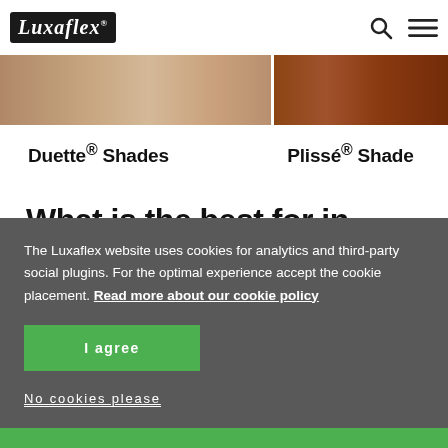Luxaflex
[Figure (photo): Two product images side by side: left showing Duette Shades fabric (beige/tan horizontal pleated texture), right showing Plissé Shades fabric (dark reddish-brown wood-like texture)]
Duette® Shades
Plissé® Shade
What is the best for interior of your home?
The Luxaflex website uses cookies for analytics and third-party social plugins. For the optimal experience accept the cookie placement. Read more about our cookie policy
I agree
No cookies please